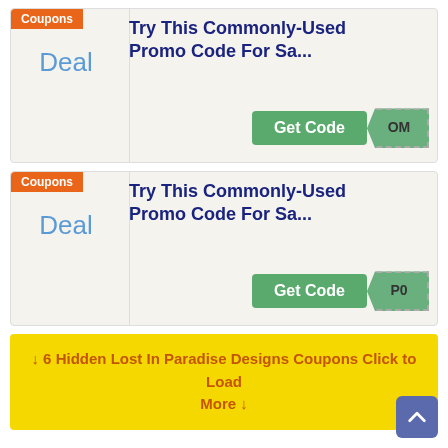[Figure (screenshot): Coupon card 1: Orange 'Coupons' tag, 'Deal' label, title 'Try This Commonly-Used Promo Code For Sa...', green 'Get Code' button with code tab showing 'OM']
[Figure (screenshot): Coupon card 2: Orange 'Coupons' tag, 'Deal' label, title 'Try This Commonly-Used Promo Code For Sa...', green 'Get Code' button with code tab showing 'P0']
↓ 6 Hidden Lost In Paradise Designs Coupons Click to Load More ↓